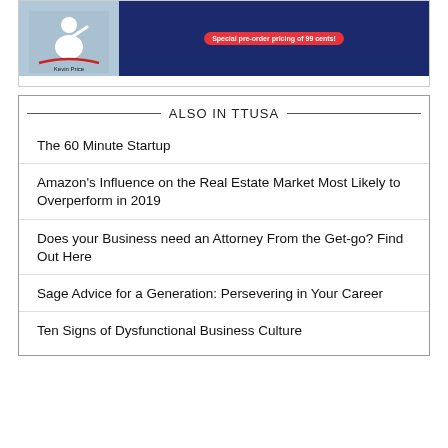[Figure (illustration): Advertisement banner with a person figure on blue-gray background on the left and dark navy blue background on the right with a red badge reading 'Special pre-order pricing of 99 cents!' and 'Kevin Price' caption]
ALSO IN TTUSA
The 60 Minute Startup
Amazon's Influence on the Real Estate Market Most Likely to Overperform in 2019
Does your Business need an Attorney From the Get-go? Find Out Here
Sage Advice for a Generation: Persevering in Your Career
Ten Signs of Dysfunctional Business Culture